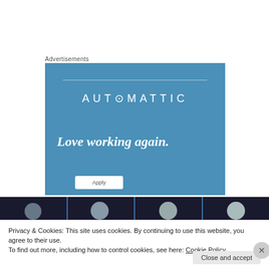Advertisements
[Figure (illustration): Automattic advertisement banner with blue background. Shows the Automattic logo at top, tagline 'Love working again.' in italic bold white text, and an Apply button at bottom.]
[Figure (photo): Horizontal photo strip showing multiple people's heads/faces against a dark background, separated by blue vertical lines.]
Privacy & Cookies: This site uses cookies. By continuing to use this website, you agree to their use.
To find out more, including how to control cookies, see here: Cookie Policy
Close and accept